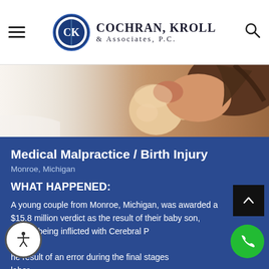Cochran, Kroll & Associates, P.C.
[Figure (photo): A mother kissing a newborn baby on the forehead, warm tones, close-up photo]
Medical Malpractice / Birth Injury
Monroe, Michigan
WHAT HAPPENED:
A young couple from Monroe, Michigan, was awarded a $15.8 million verdict as the result of their baby son, Jason, being inflicted with Cerebral Palsy as the result of an error during the final stages of labor.